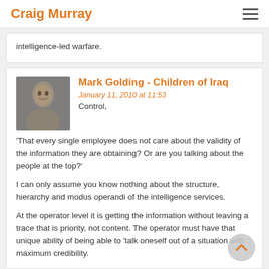Craig Murray
intelligence-led warfare.
Mark Golding - Children of Iraq
January 11, 2010 at 11:53
Control,
'That every single employee does not care about the validity of the information they are obtaining? Or are you talking about the people at the top?'
I can only assume you know nothing about the structure, hierarchy and modus operandi of the intelligence services.
At the operator level it is getting the information without leaving a trace that is priority, not content. The operator must have that unique ability of being able to 'talk oneself out of a situation with maximum credibility.